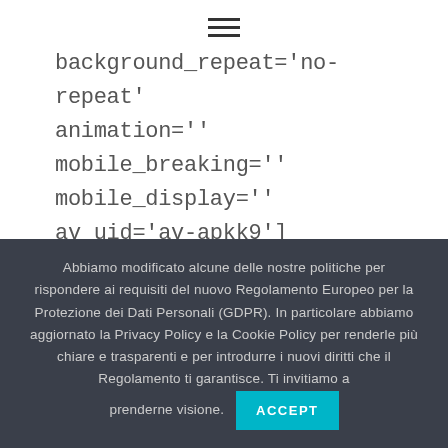[Figure (other): Hamburger menu icon with three horizontal lines]
background_repeat='no-repeat' animation='' mobile_breaking='' mobile_display='' av_uid='av-apkk9']
[av_heading heading='Boutique Hotel' tag='h2' link_apply='' link='manually,http://' link_target='' style='blockquote modern-
Abbiamo modificato alcune delle nostre politiche per rispondere ai requisiti del nuovo Regolamento Europeo per la Protezione dei Dati Personali (GDPR). In particolare abbiamo aggiornato la Privacy Policy e la Cookie Policy per renderle più chiare e trasparenti e per introdurre i nuovi diritti che il Regolamento ti garantisce. Ti invitiamo a prenderne visione. ACCEPT